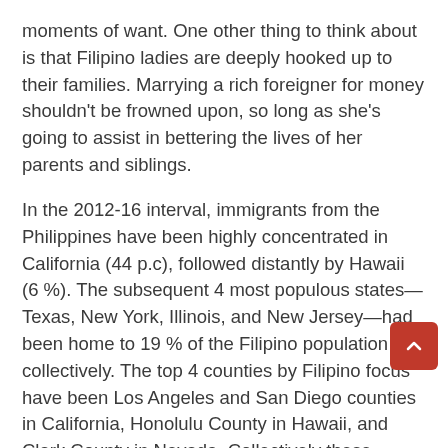moments of want. One other thing to think about is that Filipino ladies are deeply hooked up to their families. Marrying a rich foreigner for money shouldn't be frowned upon, so long as she's going to assist in bettering the lives of her parents and siblings.
In the 2012-16 interval, immigrants from the Philippines have been highly concentrated in California (44 p.c), followed distantly by Hawaii (6 %). The subsequent 4 most populous states—Texas, New York, Illinois, and New Jersey—had been home to 19 % of the Filipino population collectively. The top 4 counties by Filipino focus have been Los Angeles and San Diego counties in California, Honolulu County in Hawaii, and Clark County in Nevada. Collectively these counties accounted for 26 percent of Filipinos within the United States.
Philippine brides are lovely. He revealed: 'I married a mail order bride. I went on-line and started chatting with maybe 100 Filipinas dwell on yahoo chat. Why use on-line relationship platforms as a substitute of looking for a wife on social networks or courting apps? What